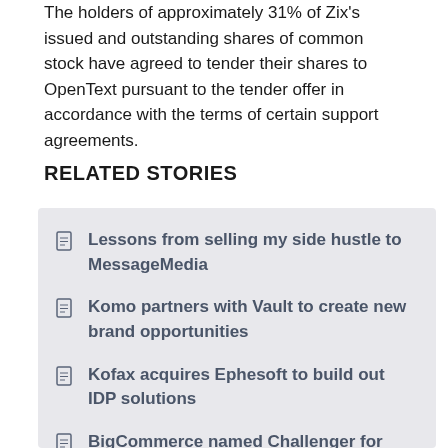The holders of approximately 31% of Zix's issued and outstanding shares of common stock have agreed to tender their shares to OpenText pursuant to the tender offer in accordance with the terms of certain support agreements.
RELATED STORIES
Lessons from selling my side hustle to MessageMedia
Komo partners with Vault to create new brand opportunities
Kofax acquires Ephesoft to build out IDP solutions
BigCommerce named Challenger for Digital Commerce Platforms
Cloudera launches all-in-one data